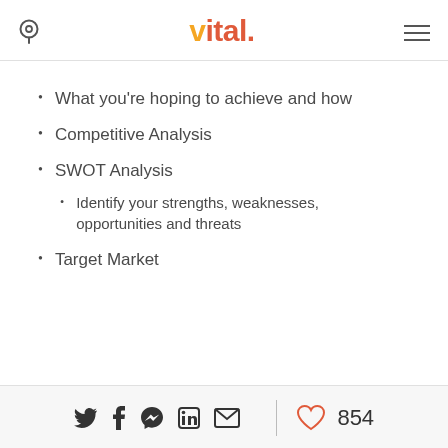vital.
What you're hoping to achieve and how
Competitive Analysis
SWOT Analysis
Identify your strengths, weaknesses, opportunities and threats
Target Market
854 likes; social share icons: Twitter, Facebook, Messenger, LinkedIn, Email